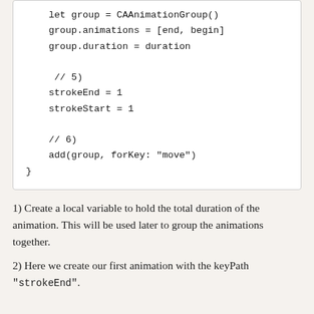let group = CAAnimationGroup()
group.animations = [end, begin]
group.duration = duration

 // 5)
strokeEnd = 1
strokeStart = 1

// 6)
add(group, forKey: "move")
}
1) Create a local variable to hold the total duration of the animation. This will be used later to group the animations together.
2) Here we create our first animation with the keyPath "strokeEnd".